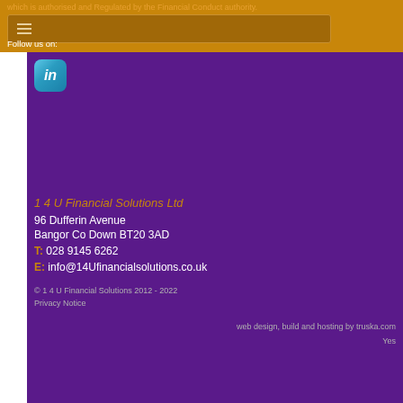which is authorised and Regulated by the Financial Conduct authority.
Follow us on:
[Figure (logo): LinkedIn icon button - blue rounded square with white 'in' text]
1 4 U Financial Solutions Ltd
96 Dufferin Avenue
Bangor Co Down BT20 3AD
T: 028 9145 6262
E: info@14Ufinancialsolutions.co.uk
© 1 4 U Financial Solutions 2012 - 2022
Privacy Notice
web design, build and hosting by truska.com
Yes